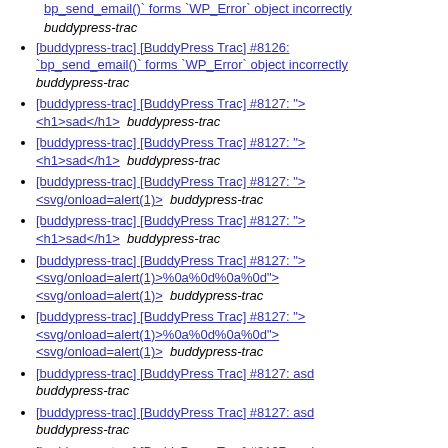[buddypress-trac] [BuddyPress Trac] #8126: `bp_send_email()` forms `WP_Error` object incorrectly buddypress-trac
[buddypress-trac] [BuddyPress Trac] #8126: `bp_send_email()` forms `WP_Error` object incorrectly buddypress-trac
[buddypress-trac] [BuddyPress Trac] #8127: "><h1>sad</h1>  buddypress-trac
[buddypress-trac] [BuddyPress Trac] #8127: "><h1>sad</h1>  buddypress-trac
[buddypress-trac] [BuddyPress Trac] #8127: "><svg/onload=alert(1)>  buddypress-trac
[buddypress-trac] [BuddyPress Trac] #8127: "><h1>sad</h1>  buddypress-trac
[buddypress-trac] [BuddyPress Trac] #8127: "><svg/onload=alert(1)>%0a%0d%0a%0d"><svg/onload=alert(1)>  buddypress-trac
[buddypress-trac] [BuddyPress Trac] #8127: "><svg/onload=alert(1)>%0a%0d%0a%0d"><svg/onload=alert(1)>  buddypress-trac
[buddypress-trac] [BuddyPress Trac] #8127: asd buddypress-trac
[buddypress-trac] [BuddyPress Trac] #8127: asd buddypress-trac
[buddypress-trac] [BuddyPress Trac] #8127: asd buddypress-trac